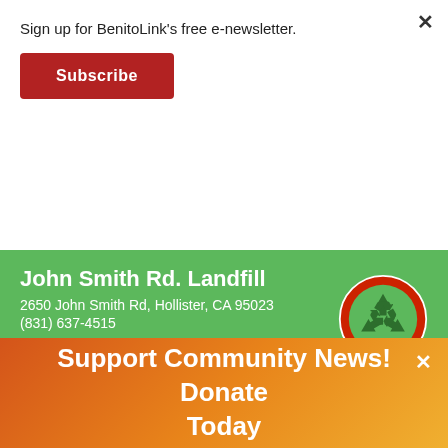Sign up for BenitoLink's free e-newsletter.
Subscribe
[Figure (infographic): Green landfill banner with recycling logo. John Smith Rd. Landfill, 2650 John Smith Rd, Hollister, CA 95023, (831) 637-4515, Up to 5 mattresses and/or box springs per household per day]
[Figure (infographic): 2022 Stuff the Bus A Huge Success! Together we supplied over 1,500 backpacks to students in need. Blue border banner with bus illustration.]
Support Community News! Donate Today